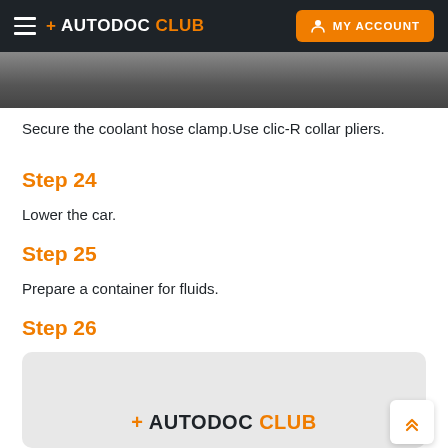+ AUTODOC CLUB  MY ACCOUNT
[Figure (photo): Partial photo of a car engine area, visible at the top of the page below the navigation header]
Secure the coolant hose clamp.Use clic-R collar pliers.
Step 24
Lower the car.
Step 25
Prepare a container for fluids.
Step 26
[Figure (logo): Autodoc Club logo on a light grey background placeholder image for Step 26]